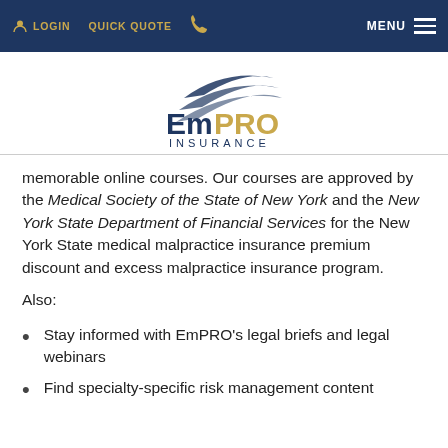LOGIN   QUICK QUOTE   [phone]   MENU
[Figure (logo): EmPRO Insurance logo with stylized swoosh above text reading EMPRO INSURANCE]
memorable online courses. Our courses are approved by the Medical Society of the State of New York and the New York State Department of Financial Services for the New York State medical malpractice insurance premium discount and excess malpractice insurance program.
Also:
Stay informed with EmPRO's legal briefs and legal webinars
Find specialty-specific risk management content